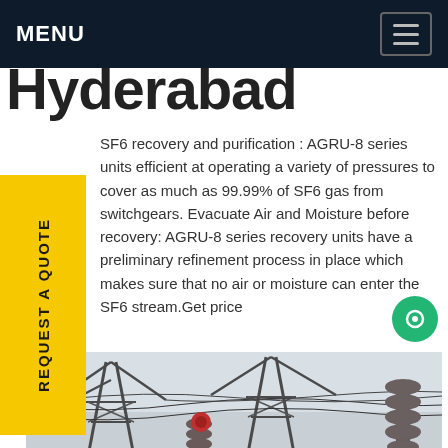MENU
Hyderabad
SF6 recovery and purification : AGRU-8 series units efficient at operating a variety of pressures to cover as much as 99.99% of SF6 gas from switchgears. Evacuate Air and Moisture before recovery: AGRU-8 series recovery units have a preliminary refinement process in place which makes sure that no air or moisture can enter the SF6 stream.Get price
[Figure (photo): Industrial electrical substation with power transmission towers, insulators, and overhead lines against a grey sky. Yellow equipment visible in the foreground.]